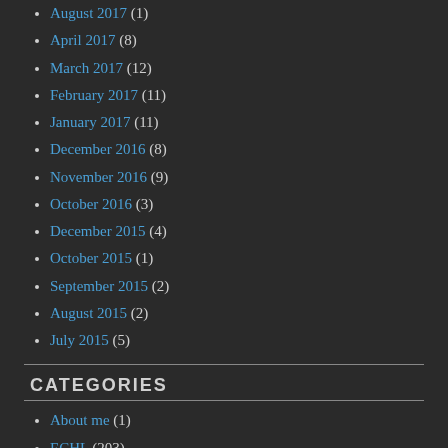August 2017 (1)
April 2017 (8)
March 2017 (12)
February 2017 (11)
January 2017 (11)
December 2016 (8)
November 2016 (9)
October 2016 (3)
December 2015 (4)
October 2015 (1)
September 2015 (2)
August 2015 (2)
July 2015 (5)
CATEGORIES
About me (1)
ECHL (203)
Game Recaps (130)
Habs (1)
Hockey (205)
Monday Munchies (7)
personal (2)